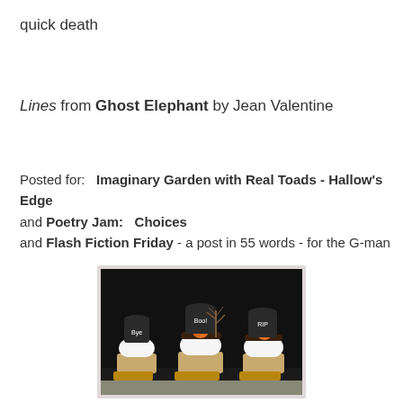quick death
Lines from Ghost Elephant by Jean Valentine
Posted for:   Imaginary Garden with Real Toads - Hallow's Edge
and Poetry Jam:   Choices
and Flash Fiction Friday - a post in 55 words - for the G-man
[Figure (photo): Halloween cupcakes with dark frosting and tombstone decorations reading 'Bye', 'Boo!', and 'RIP', with orange pumpkin decorations and a bare tree, on a dark background.]